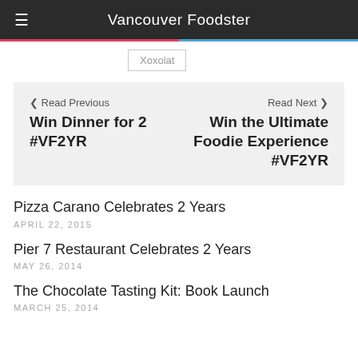Vancouver Foodster
Xoxolat
< Read Previous
Win Dinner for 2 #VF2YR
Read Next >
Win the Ultimate Foodie Experience #VF2YR
Pizza Carano Celebrates 2 Years
APRIL 22, 2015
Pier 7 Restaurant Celebrates 2 Years
MAY 26, 2014
The Chocolate Tasting Kit: Book Launch
MARCH 25, 2014